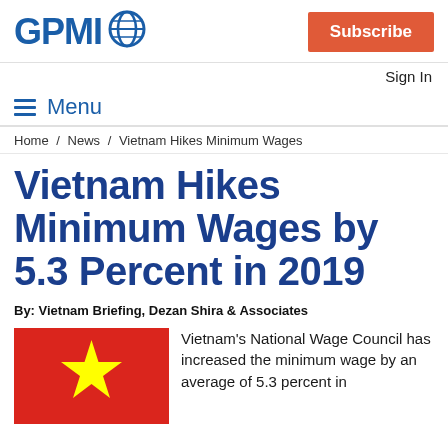GPMI | Subscribe | Sign In
Menu
Home / News / Vietnam Hikes Minimum Wages
Vietnam Hikes Minimum Wages by 5.3 Percent in 2019
By: Vietnam Briefing, Dezan Shira & Associates
[Figure (illustration): Vietnam national flag with red background and yellow star]
Vietnam's National Wage Council has increased the minimum wage by an average of 5.3 percent in